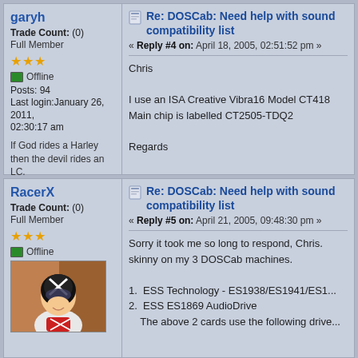garyh
Trade Count: (0)
Full Member
★★★
Offline
Posts: 94
Last login: January 26, 2011, 02:30:17 am
If God rides a Harley then the devil rides an LC.
Re: DOSCab: Need help with sound compatibility list
« Reply #4 on: April 18, 2005, 02:51:52 pm »
Chris

I use an ISA Creative Vibra16 Model CT418...
Main chip is labelled CT2505-TDQ2

Regards

Gary
RacerX
Trade Count: (0)
Full Member
★★★
Offline
[Figure (photo): Avatar of RacerX showing an animated character wearing a white helmet with X marking, dark suit]
Re: DOSCab: Need help with sound compatibility list
« Reply #5 on: April 21, 2005, 09:48:30 pm »
Sorry it took me so long to respond, Chris. Here's the skinny on my 3 DOSCab machines.
1. ESS Technology - ES1938/ES1941/ES1...
2. ESS ES1869 AudioDrive
The above 2 cards use the following drive...